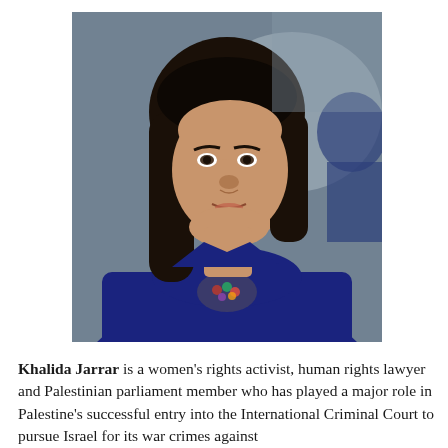[Figure (photo): Portrait photograph of Khalida Jarrar, a woman with shoulder-length black hair, wearing a navy blue jacket and a floral scarf/necklace, photographed against a blurred background.]
Khalida Jarrar is a women's rights activist, human rights lawyer and Palestinian parliament member who has played a major role in Palestine's successful entry into the International Criminal Court to pursue Israel for its war crimes against